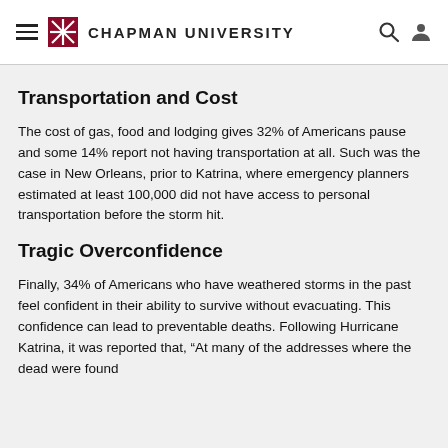CHAPMAN UNIVERSITY
Transportation and Cost
The cost of gas, food and lodging gives 32% of Americans pause and some 14% report not having transportation at all. Such was the case in New Orleans, prior to Katrina, where emergency planners estimated at least 100,000 did not have access to personal transportation before the storm hit.
Tragic Overconfidence
Finally, 34% of Americans who have weathered storms in the past feel confident in their ability to survive without evacuating. This confidence can lead to preventable deaths. Following Hurricane Katrina, it was reported that, “At many of the addresses where the dead were found